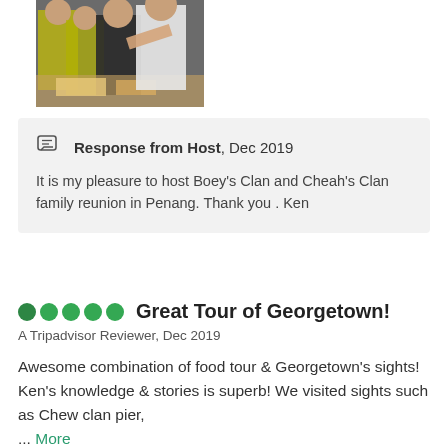[Figure (photo): Photo of people at a food stall or restaurant, some wearing yellow vests, sharing or looking at food on a tray.]
Response from Host, Dec 2019
It is my pleasure to host Boey's Clan and Cheah's Clan family reunion in Penang. Thank you . Ken
Great Tour of Georgetown!
A Tripadvisor Reviewer, Dec 2019
Awesome combination of food tour & Georgetown's sights! Ken's knowledge & stories is superb! We visited sights such as Chew clan pier, ... More